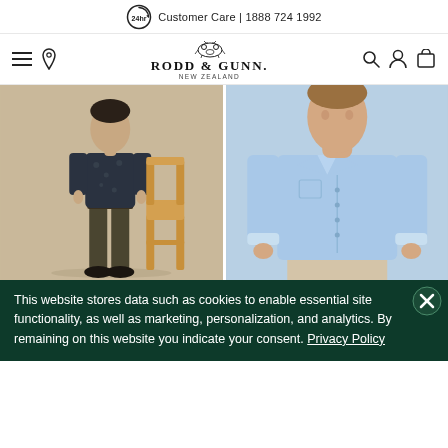Customer Care | 1888 724 1992
[Figure (screenshot): Rodd & Gunn New Zealand logo with navigation icons (hamburger menu, location pin, search, account, cart)]
[Figure (photo): Man standing next to a wooden bistro chair, wearing a dark floral long-sleeve shirt and olive trousers with dark shoes, against a beige background]
[Figure (photo): Close-up of a man wearing a light blue dress shirt and beige trousers against a light blue background]
This website stores data such as cookies to enable essential site functionality, as well as marketing, personalization, and analytics. By remaining on this website you indicate your consent. Privacy Policy